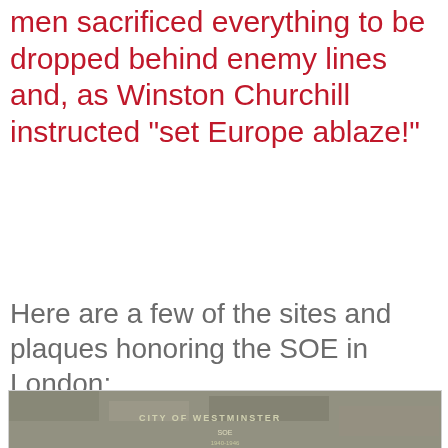men sacrificed everything to be dropped behind enemy lines and, as Winston Churchill instructed "set Europe ablaze!"
Here are a few of the sites and plaques honoring the SOE in London:
[Figure (photo): A green circular City of Westminster heritage plaque reading: SOE 1940-1946 THIS WAS THE HQ OF THE SPECIAL OPERATIONS EXECUTIVE SECRET SERVICE WHICH, mounted on a stone wall background.]